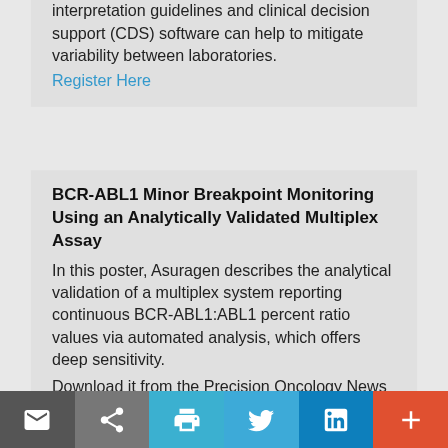interpretation guidelines and clinical decision support (CDS) software can help to mitigate variability between laboratories.
Register Here
BCR-ABL1 Minor Breakpoint Monitoring Using an Analytically Validated Multiplex Assay
In this poster, Asuragen describes the analytical validation of a multiplex system reporting continuous BCR-ABL1:ABL1 percent ratio values via automated analysis, which offers deep sensitivity.
Download it from the Precision Oncology News White Paper Channel.
Selected Cancer Research Publications Using Spatial Analysis From 2020